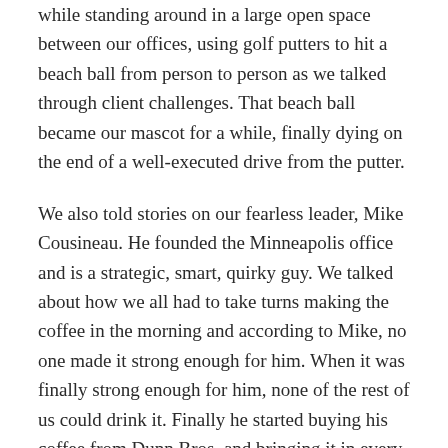while standing around in a large open space between our offices, using golf putters to hit a beach ball from person to person as we talked through client challenges. That beach ball became our mascot for a while, finally dying on the end of a well-executed drive from the putter.
We also told stories on our fearless leader, Mike Cousineau. He founded the Minneapolis office and is a strategic, smart, quirky guy. We talked about how we all had to take turns making the coffee in the morning and according to Mike, no one made it strong enough for him. When it was finally strong enough for him, none of the rest of us could drink it. Finally he started buying his coffee from Dunn Bros. and bringing it in every morning and the rest of us made the coffee the strength we could tolerate.
He then developed the habit of leaving those Dunn Bros. coffee cups around his office, to the point that his desk and table were littered with dozens of slowly disintegrating paper cups in various stages of growing mold. With no cleaning staff and no